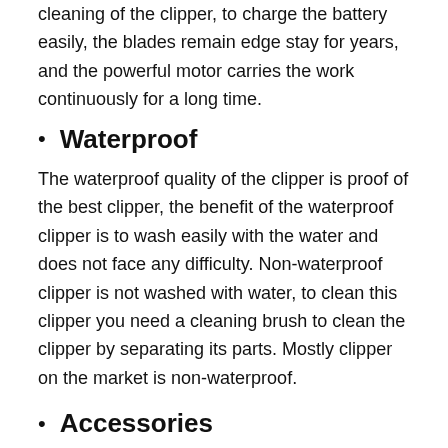cleaning of the clipper, to charge the battery easily, the blades remain edge stay for years, and the powerful motor carries the work continuously for a long time.
Waterproof
The waterproof quality of the clipper is proof of the best clipper, the benefit of the waterproof clipper is to wash easily with the water and does not face any difficulty. Non-waterproof clipper is not washed with water, to clean this clipper you need a cleaning brush to clean the clipper by separating its parts. Mostly clipper on the market is non-waterproof.
Accessories
Accessories is one of important content for the